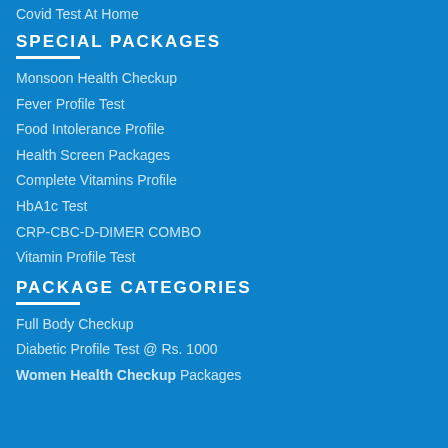Covid Test At Home
SPECIAL PACKAGES
Monsoon Health Checkup
Fever Profile Test
Food Intolerance Profile
Health Screen Packages
Complete Vitamins Profile
HbA1c Test
CRP-CBC-D-DIMER COMBO
Vitamin Profile Test
PACKAGE CATEGORIES
Full Body Checkup
Diabetic Profile Test @ Rs. 1000
Women Health Checkup Packages